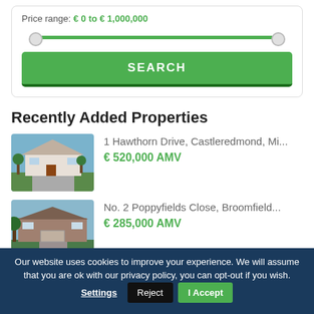Price range: € 0 to € 1,000,000
[Figure (other): Price range slider from 0 to 1,000,000 with green track and two circular handles]
SEARCH
Recently Added Properties
[Figure (photo): Photo of 1 Hawthorn Drive, a detached white house with lawn and driveway]
1 Hawthorn Drive, Castleredmond, Mi...
€ 520,000 AMV
[Figure (photo): Photo of No. 2 Poppyfields Close, a semi-detached house with trees]
No. 2 Poppyfields Close, Broomfield...
€ 285,000 AMV
Our website uses cookies to improve your experience. We will assume that you are ok with our privacy policy, you can opt-out if you wish. Settings  Reject  I Accept